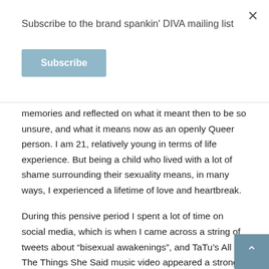×
Subscribe to the brand spankin' DIVA mailing list
Subscribe
memories and reflected on what it meant then to be so unsure, and what it means now as an openly Queer person. I am 21, relatively young in terms of life experience. But being a child who lived with a lot of shame surrounding their sexuality means, in many ways, I experienced a lifetime of love and heartbreak.
During this pensive period I spent a lot of time on social media, which is when I came across a string of tweets about "bisexual awakenings", and TaTu's All The Things She Said music video appeared a strong contender in the list. I was shocked to see this as a somewhat universal experience in the LGBTQI+ community. The more tweets I saw, the mo realised that I shared so many childhood experiences with